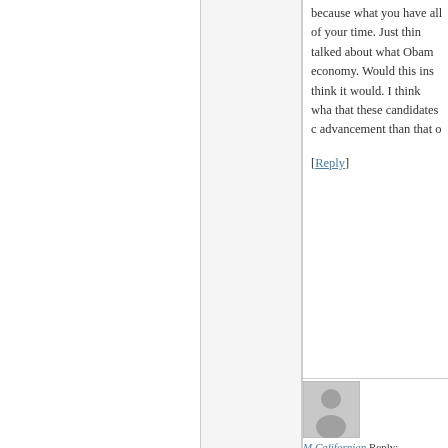because what you have all of your time. Just talked about what Obama economy. Would this ins think it would. I think that these candidates advancement than that
[Reply]
[Figure (illustration): User avatar placeholder icon - gray silhouette of a person on light gray background]
M Californian Reply:
January 22nd, 2012 at 10:34 a
I'm sorry a number of you Paul's libertarian principle rails, making him unelect most outspoken on Obam military and calling Obama AND it rallied the voters i being said, no candidate